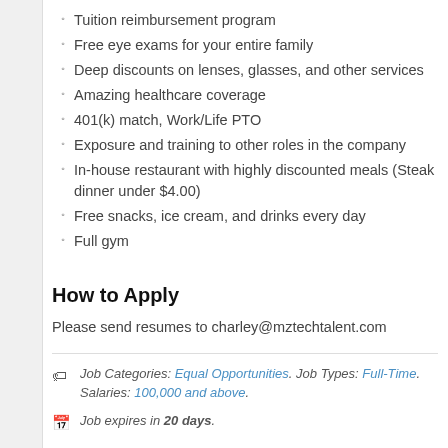Tuition reimbursement program
Free eye exams for your entire family
Deep discounts on lenses, glasses, and other services
Amazing healthcare coverage
401(k) match, Work/Life PTO
Exposure and training to other roles in the company
In-house restaurant with highly discounted meals (Steak dinner under $4.00)
Free snacks, ice cream, and drinks every day
Full gym
How to Apply
Please send resumes to charley@mztechtalent.com
Job Categories: Equal Opportunities. Job Types: Full-Time. Salaries: 100,000 and above.
Job expires in 20 days.